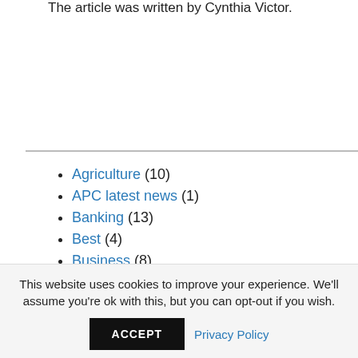The article was written by Cynthia Victor.
Agriculture (10)
APC latest news (1)
Banking (13)
Best (4)
Business (8)
This website uses cookies to improve your experience. We'll assume you're ok with this, but you can opt-out if you wish.
ACCEPT   Privacy Policy